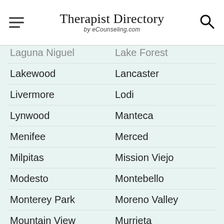Therapist Directory by eCounseling.com
Laguna Niguel
Lake Forest
Lakewood
Lancaster
Livermore
Lodi
Lynwood
Manteca
Menifee
Merced
Milpitas
Mission Viejo
Modesto
Montebello
Monterey Park
Moreno Valley
Mountain View
Murrieta
Napa
National City
Newport Beach
Norwalk
Novato
Oceanside
Ontario
Orange
Oxnard
Palmdale